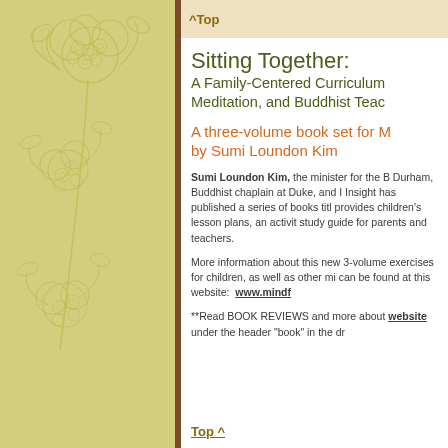[Figure (illustration): Yellow-green floral/botanical decorative pattern on textured background forming left panel of page]
^Top
Sitting Together: A Family-Centered Curriculum Meditation, and Buddhist Teachings
A three-volume book set for M by Sumi Loundon Kim
Sumi Loundon Kim, the minister for the B Durham, Buddhist chaplain at Duke, and Insight has published a series of books title provides children's lesson plans, an activit study guide for parents and teachers.
More information about this new 3-volume exercises for children, as well as other min can be found at this website: www.mindf
**Read BOOK REVIEWS and more about website under the header "book" in the dr
Top ^